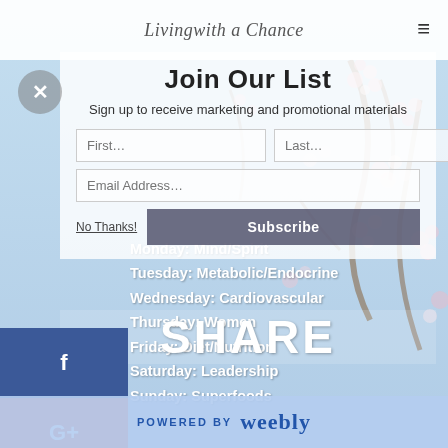Livingwith a Chance (navigation bar with logo and hamburger menu)
Join Our List
Sign up to receive marketing and promotional materials
SHARE
Monday: Mind/Spirit
Tuesday: Metabolic/Endocrine
Wednesday: Cardiovascular
Thursday: Women
Friday: Diet/Nutrition
Saturday: Leadership
Sunday: Superfoods
POWERED BY weebly